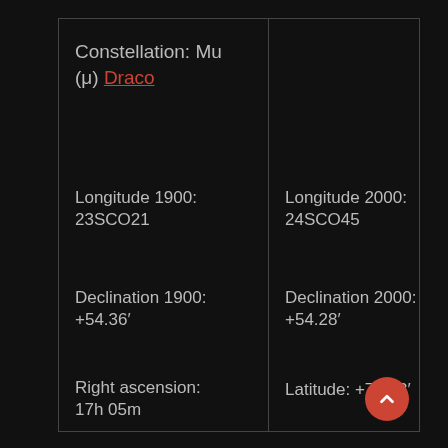Constellation: Mu (μ) Draco
Longitude 1900: 23SCO21
Longitude 2000: 24SCO45
Declination 1900: +54.36′
Declination 2000: +54.28′
Right ascension: 17h 05m
Latitude: +76.13′
Spectral class: F6
Magnitude: 5.1